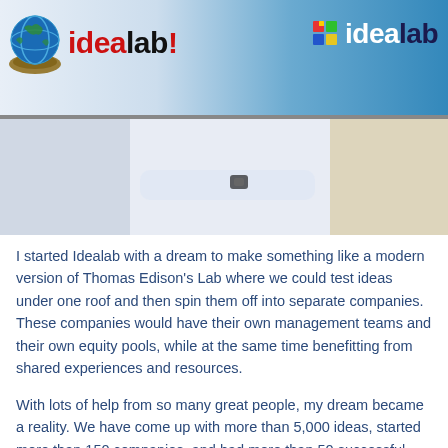[Figure (logo): Idealab logo on left: globe icon with nest and 'idealab!' text in red/black]
[Figure (logo): Idealab logo on right: colored grid icon with 'idealab' text in white/dark blue]
[Figure (photo): Person in white shirt with arms crossed, partial torso shot, blue/beige background]
I started Idealab with a dream to make something like a modern version of Thomas Edison's Lab where we could test ideas under one roof and then spin them off into separate companies. These companies would have their own management teams and their own equity pools, while at the same time benefitting from shared experiences and resources.
With lots of help from so many great people, my dream became a reality. We have come up with more than 5,000 ideas, started more than 150 companies, and had more than 50 successful IPO's and acquisitions. We are most proud that we created more than 10,000 jobs and thousands of new entrepreneurs.